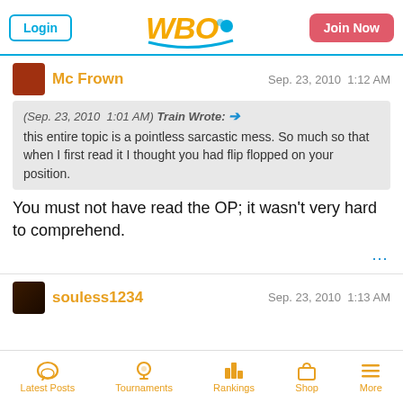WBO - Login | Join Now
Mc Frown  Sep. 23, 2010  1:12 AM
(Sep. 23, 2010  1:01 AM) Train Wrote: → this entire topic is a pointless sarcastic mess. So much so that when I first read it I thought you had flip flopped on your position.
You must not have read the OP; it wasn't very hard to comprehend.
souless1234  Sep. 23, 2010  1:13 AM
Latest Posts  Tournaments  Rankings  Shop  More